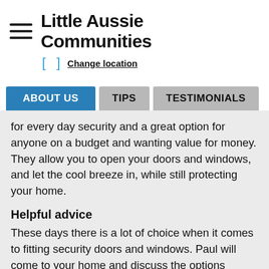Little Aussie Communities
[ ]  Change location
ABOUT US  TIPS  TESTIMONIALS
for every day security and a great option for anyone on a budget and wanting value for money. They allow you to open your doors and windows, and let the cool breeze in, while still protecting your home.
Helpful advice
These days there is a lot of choice when it comes to fitting security doors and windows. Paul will come to your home and discuss the options available and advise which would be best for you. Among other things he can supply security screens for all sizes of windows, decorative security doors and fit security screens to sliding doors.